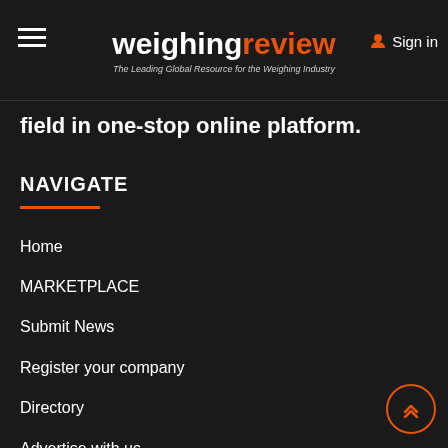weighingreview — The Leading Global Resource for the Weighing Industry — Sign in
field in one-stop online platform.
NAVIGATE
Home
MARKETPLACE
Submit News
Register your company
Directory
Advertise with us
Legal Notice, Privacy and Terms of Use